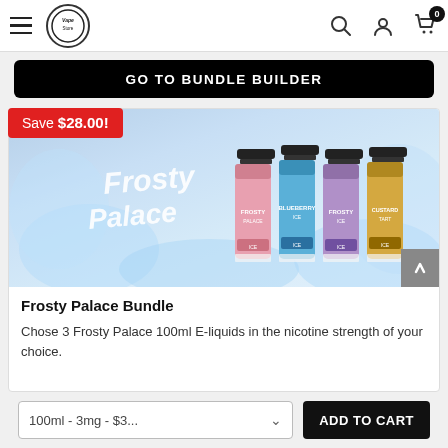Navigation header with hamburger menu, logo, search, account, and cart icons
GO TO BUNDLE BUILDER
[Figure (photo): Frosty Palace Bundle product image showing four 100ml e-liquid bottles in front of an icy blue background with the Frosty Palace logo]
Frosty Palace Bundle
Chose 3 Frosty Palace 100ml E-liquids in the nicotine strength of your choice.
100ml - 3mg - $3... ADD TO CART